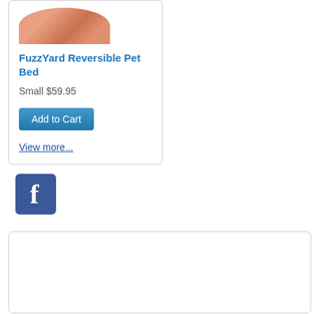[Figure (photo): Partial view of a FuzzYard Reversible Pet Bed product image at the top of a product card]
FuzzYard Reversible Pet Bed
Small $59.95
Add to Cart
View more...
[Figure (logo): Facebook logo icon — blue rounded square with white lowercase f]